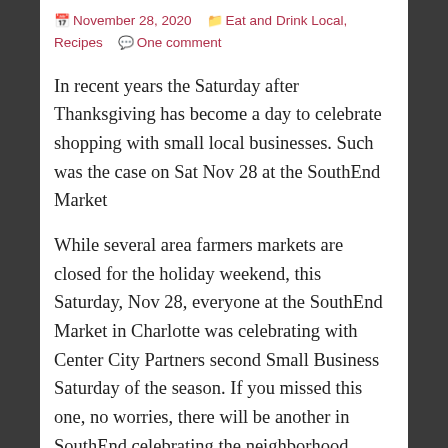November 28, 2020  Eat and Drink Local, Recipes  One comment
In recent years the Saturday after Thanksgiving has become a day to celebrate shopping with small local businesses. Such was the case on Sat Nov 28 at the SouthEnd Market
While several area farmers markets are closed for the holiday weekend, this Saturday, Nov 28, everyone at the SouthEnd Market in Charlotte was celebrating with Center City Partners second Small Business Saturday of the season. If you missed this one, no worries, there will be another in SouthEnd celebrating the neighborhood, again centered at the market on Saturday Dec 12, 2020.